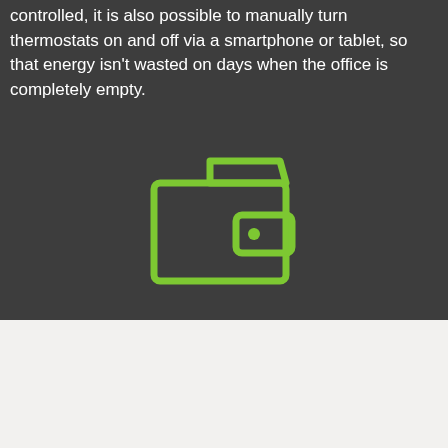controlled, it is also possible to manually turn thermostats on and off via a smartphone or tablet, so that energy isn't wasted on days when the office is completely empty.
[Figure (illustration): Green outline icon of a wallet/billfold on a dark grey background]
Find your perfect building control system